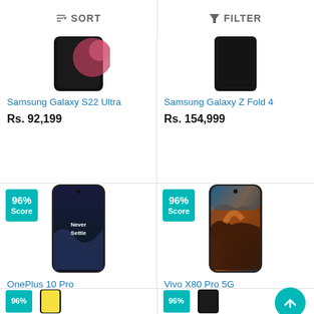SORT   FILTER
[Figure (photo): Partial top view of Samsung Galaxy S22 Ultra phone]
Samsung Galaxy S22 Ultra
Rs. 92,199
[Figure (photo): Partial top view of Samsung Galaxy Z Fold 4 phone]
Samsung Galaxy Z Fold 4
Rs. 154,999
[Figure (photo): OnePlus 10 Pro phone with 96% score badge and Never Settle wallpaper]
OnePlus 10 Pro
Rs. 61,999
[Figure (photo): Vivo X80 Pro 5G phone with 96% score badge and colorful landscape wallpaper]
Vivo X80 Pro 5G
Rs. 79,999